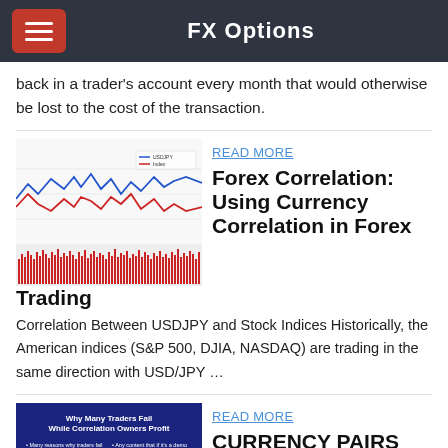FX Options
back in a trader's account every month that would otherwise be lost to the cost of the transaction.
[Figure (line-chart): Forex correlation chart showing USDJPY and stock index lines in blue and red with red bar chart below]
READ MORE
Forex Correlation: Using Currency Correlation in Forex Trading
Correlation Between USDJPY and Stock Indices Historically, the American indices (S&P 500, DJIA, NASDAQ) are trading in the same direction with USD/JPY …
[Figure (screenshot): Slide titled 'Why Many Traders Fail While Correlation Owners Profit' with bullet points on blue background]
READ MORE
CURRENCY PAIRS GUIDE - FXDD
2017/11/14 · If you want to watch me go